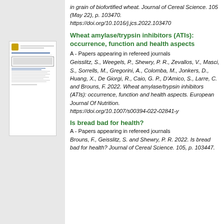in grain of biofortified wheat. Journal of Cereal Science. 105 (May 22), p. 103470. https://doi.org/10.1016/j.jcs.2022.103470
[Figure (screenshot): Thumbnail preview of a referenced academic paper document]
Wheat amylase/trypsin inhibitors (ATIs): occurrence, function and health aspects
A - Papers appearing in refereed journals
Geisslitz, S., Weegels, P., Shewry, P. R., Zevallos, V., Masci, S., Sorrells, M., Gregorini, A., Colomba, M., Jonkers, D., Huang, X., De Giorgi, R., Caio, G. P., D'Amico, S., Larre, C. and Brouns, F. 2022. Wheat amylase/trypsin inhibitors (ATIs): occurrence, function and health aspects. European Journal Of Nutrition. https://doi.org/10.1007/s00394-022-02841-y
Is bread bad for health?
A - Papers appearing in refereed journals
Brouns, F., Geisslitz, S. and Shewry, P. R. 2022. Is bread bad for health? Journal of Cereal Science. 105, p. 103447.